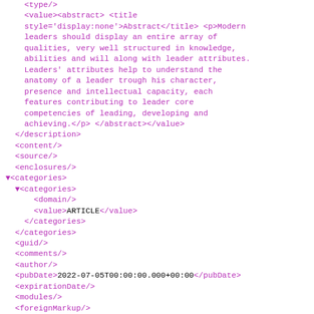<type/>
    <value><abstract> <title style='display:none'>Abstract</title> <p>Modern leaders should display an entire array of qualities, very well structured in knowledge, abilities and will along with leader attributes. Leaders' attributes help to understand the anatomy of a leader trough his character, presence and intellectual capacity, each features contributing to leader core competencies of leading, developing and achieving.</p> </abstract></value>
  </description>
  <content/>
  <source/>
  <enclosures/>
▼<categories>
  ▼<categories>
      <domain/>
      <value>ARTICLE</value>
    </categories>
  </categories>
  <guid/>
  <comments/>
  <author/>
  <pubDate>2022-07-05T00:00:00.000+00:00</pubDate>
  <expirationDate/>
  <modules/>
  <foreignMarkup/>
</items>
<item